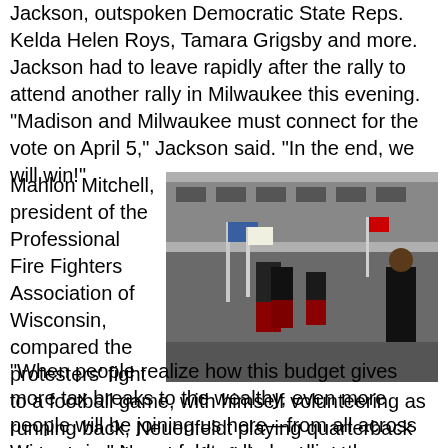Jackson, outspoken Democratic State Reps. Kelda Helen Roys, Tamara Grigsby and more. Jackson had to leave rapidly after the rally to attend another rally in Milwaukee this evening. "Madison and Milwaukee must connect for the vote on April 5," Jackson said. "In the end, we will win!"
Mahlon Mitchell, president of the Professional Fire Fighters Association of Wisconsin, compared the protesters' fight to a football game, with himself volunteering as running back, Neuenfeldt playing quarterback and Wisconsin union firefighters backing up as a strong defensive line.
[Figure (photo): Outdoor rally scene with bagpipers in kilts and red-and-black uniforms performing, people with flags in the background, and an African American speaker at a podium on the right.]
"When people realize how this budget gives more tax breaks to the wealthy, even more people will be joining us here—from all across Wisconsin," Neuenfeldt yelled, calling the Republicans' sneak-attack Senate vote on the